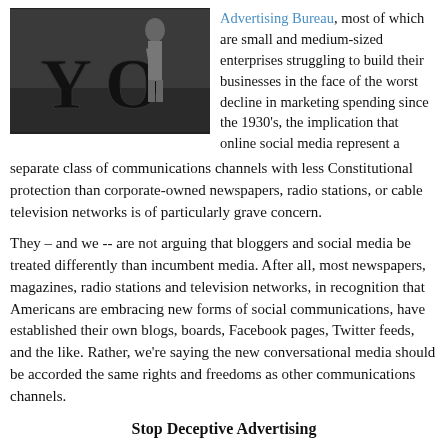[Figure (illustration): Black and white illustration/artwork showing a person standing next to large letters 'YO', appearing to be a street or graffiti-style art scene]
Advertising Bureau, most of which are small and medium-sized enterprises struggling to build their businesses in the face of the worst decline in marketing spending since the 1930's, the implication that online social media represent a separate class of communications channels with less Constitutional protection than corporate-owned newspapers, radio stations, or cable television networks is of particularly grave concern.
They – and we -- are not arguing that bloggers and social media be treated differently than incumbent media. After all, most newspapers, magazines, radio stations and television networks, in recognition that Americans are embracing new forms of social communications, have established their own blogs, boards, Facebook pages, Twitter feeds, and the like. Rather, we're saying the new conversational media should be accorded the same rights and freedoms as other communications channels.
Stop Deceptive Advertising